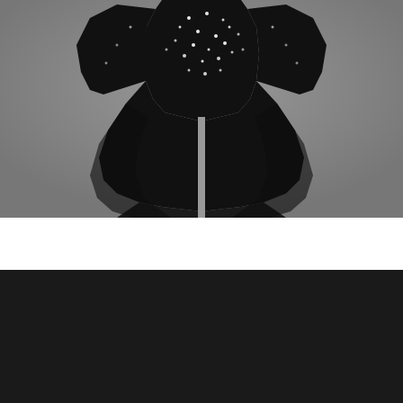[Figure (photo): A black figure skating / dance dress with long sleeves and rhinestone embellishments displayed on a mannequin stand against a grey background. The dress has a flared asymmetric skirt.]
To spletno mesto uporablja piškotke za izboljšanje vaše izkušnje. Domnevamo, da se s tem strinjate, vendar se lahko odjavite, če želite.Nastavitve.
Sprejmem piškotke